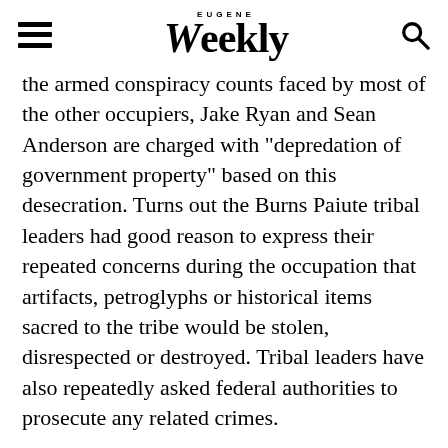EUGENE Weekly
the armed conspiracy counts faced by most of the other occupiers, Jake Ryan and Sean Anderson are charged with “depredation of government property” based on this desecration. Turns out the Burns Paiute tribal leaders had good reason to express their repeated concerns during the occupation that artifacts, petroglyphs or historical items sacred to the tribe would be stolen, disrespected or destroyed. Tribal leaders have also repeatedly asked federal authorities to prosecute any related crimes.
From my perspective, the FBI discovery reveals